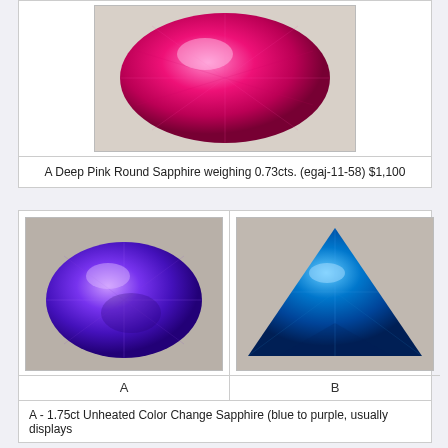[Figure (photo): A deep pink round brilliant-cut sapphire gemstone photographed on a light background]
A Deep Pink Round Sapphire weighing 0.73cts. (egaj-11-58) $1,100
[Figure (photo): Two gemstone photos side by side: A (left) - a violet/purple oval cut unheated color change sapphire; B (right) - a blue trillion-cut color change sapphire]
A - 1.75ct Unheated Color Change Sapphire (blue to purple, usually displays